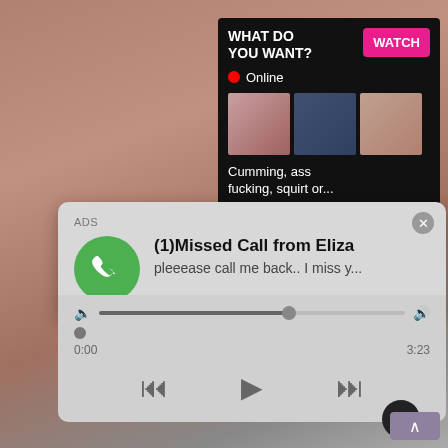[Figure (screenshot): Adult content screenshot in background]
[Figure (screenshot): Ad overlay: WHAT DO YOU WANT? with WATCH button, Online indicator, three thumbnail images, text 'Cumming, ass fucking, squirt or...', ADS label and close X]
[Figure (screenshot): Notification card: ADS label, green phone icon, bold text '(1)Missed Call from Eliza', subtext 'pleeease call me back.. I miss y...', audio progress bar showing 0:00 to 3:23 with playback controls (rewind, play, fast-forward), close button]